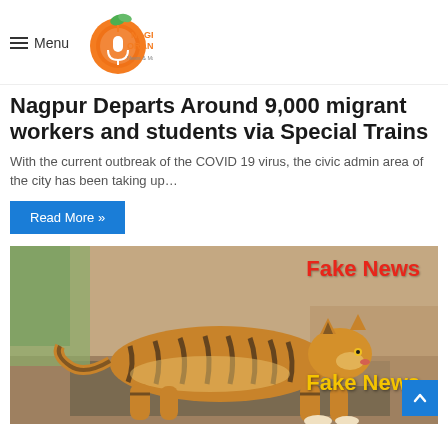Menu — Nagpur Oranges News & Magazine
Nagpur Departs Around 9,000 migrant workers and students via Special Trains
With the current outbreak of the COVID 19 virus, the civic admin area of the city has been taking up…
Read More »
[Figure (photo): A tiger walking on a road with 'Fake News' text overlay in red at top right and yellow at bottom right]